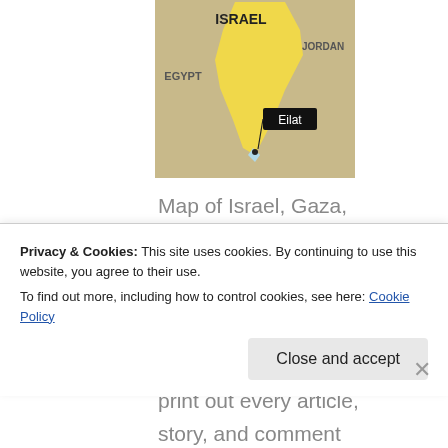[Figure (map): Map showing southern Israel (highlighted in yellow), with surrounding regions: Egypt to the west, Jordan to the east. A black label points to the city of Eilat at the southern tip of Israel. A small body of water (Gulf of Aqaba) is visible below Eilat.]
Map of Israel, Gaza, and West Bank. This whole area is so small and so disproportionately debated, that if you print out every article, story, and comment related
Privacy & Cookies: This site uses cookies. By continuing to use this website, you agree to their use.
To find out more, including how to control cookies, see here: Cookie Policy
Close and accept